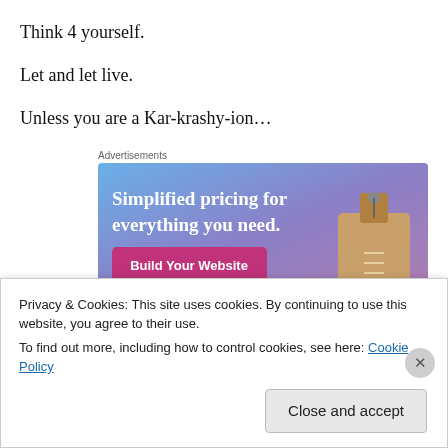Think 4 yourself.
Let and let live.
Unless you are a Kar-krashy-ion…
Advertisements
[Figure (illustration): Advertisement banner with blue-purple gradient background showing a price tag graphic and text 'Simplified pricing for everything you need.' with a pink 'Build Your Website' button.]
Privacy & Cookies: This site uses cookies. By continuing to use this website, you agree to their use.
To find out more, including how to control cookies, see here: Cookie Policy